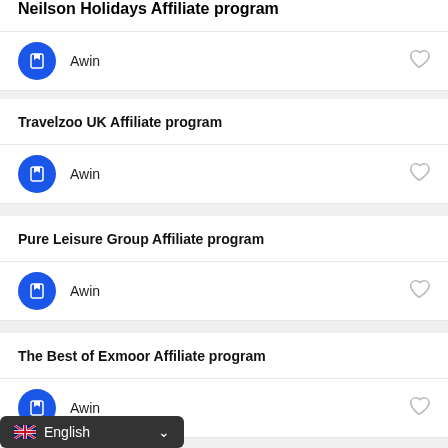Neilson Holidays Affiliate program
Awin
Travelzoo UK Affiliate program
Awin
Pure Leisure Group Affiliate program
Awin
The Best of Exmoor Affiliate program
Awin
English